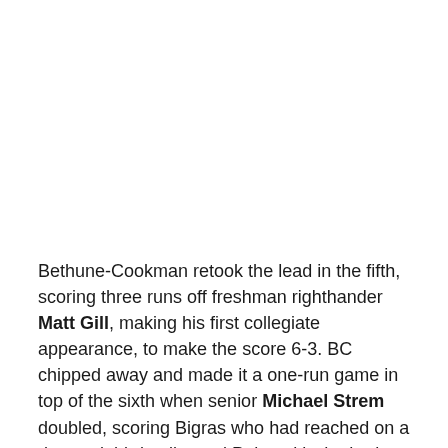Bethune-Cookman retook the lead in the fifth, scoring three runs off freshman righthander Matt Gill, making his first collegiate appearance, to make the score 6-3. BC chipped away and made it a one-run game in top of the sixth when senior Michael Strem doubled, scoring Bigras who had reached on a dropped third strike and Palomaki who had walked for the second time in the game. The Eagles had a chance to tie the game in the